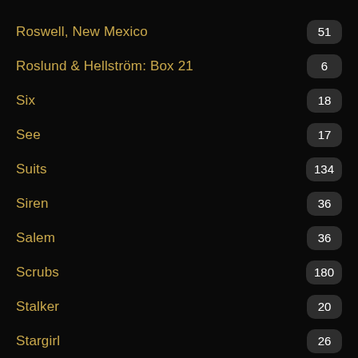Roswell, New Mexico — 51
Roslund & Hellström: Box 21 — 6
Six — 18
See — 17
Suits — 134
Siren — 36
Salem — 36
Scrubs — 180
Stalker — 20
Stargirl — 26